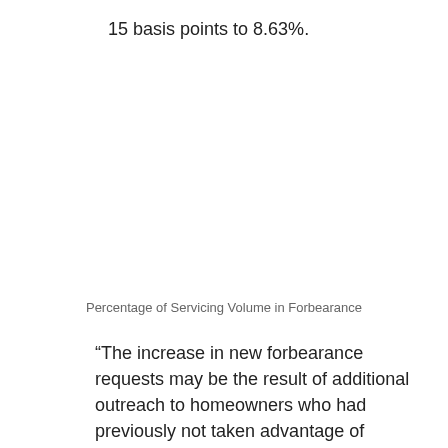15 basis points to 8.63%.
Percentage of Servicing Volume in Forbearance
“The increase in new forbearance requests may be the result of additional outreach to homeowners who had previously not taken advantage of forbearance opportunities,” said Mike Fratantoni, MBA’s senior vice president and chief economist. “However,